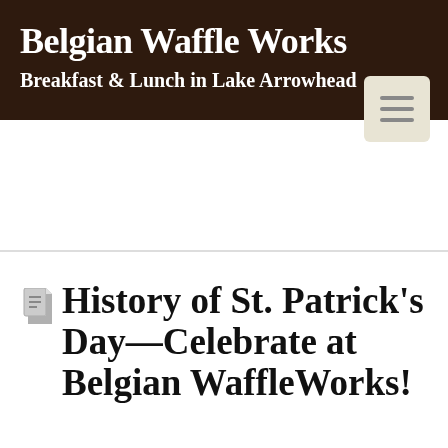Belgian Waffle Works
Breakfast & Lunch in Lake Arrowhead
History of St. Patrick's Day—Celebrate at Belgian WaffleWorks!